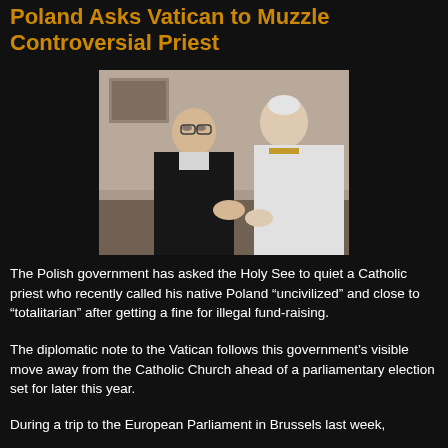Poland Asks Vatican to Muzzle Controversial Priest
[Figure (photo): Two men in conversation: a man in a black sweater and a man in white papal vestments shaking hands or greeting each other indoors.]
The Polish government has asked the Holy See to quiet a Catholic priest who recently called his native Poland „uncivilized” and close to „totalitarian” after getting a fine for illegal fund-raising.
The diplomatic note to the Vatican follows this government’s visible move away from the Catholic Church ahead of a parliamentary election set for later this year.
During a trip to the European Parliament in Brussels last week,